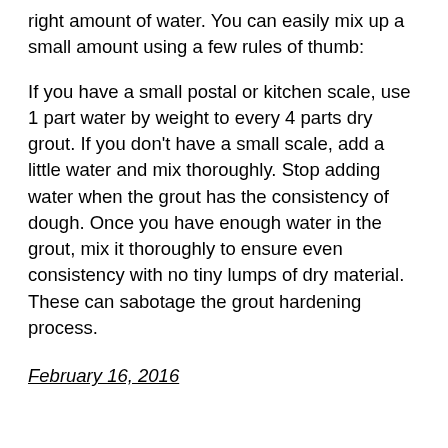right amount of water. You can easily mix up a small amount using a few rules of thumb:
If you have a small postal or kitchen scale, use 1 part water by weight to every 4 parts dry grout. If you don't have a small scale, add a little water and mix thoroughly. Stop adding water when the grout has the consistency of dough. Once you have enough water in the grout, mix it thoroughly to ensure even consistency with no tiny lumps of dry material. These can sabotage the grout hardening process.
February 16, 2016